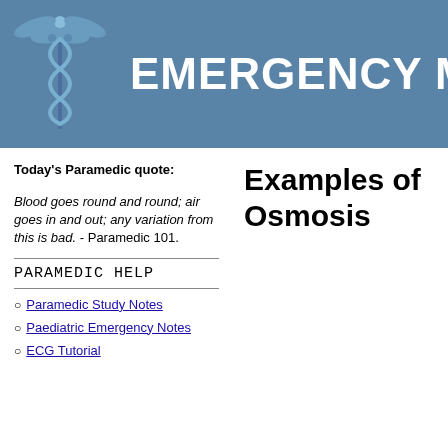[Figure (logo): Emergency Medical website header banner with caduceus medical symbol on blue background and text 'EMERGENCY MEDI' (truncated)]
Today's Paramedic quote:
Examples of Osmosis
Blood goes round and round; air goes in and out; any variation from this is bad. - Paramedic 101.
PARAMEDIC HELP
Paramedic Study Notes
Paediatric Emergency Notes
ECG Tutorial